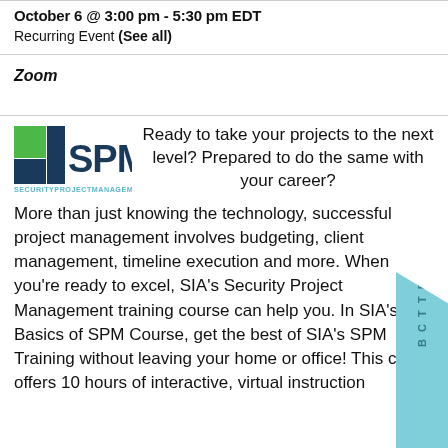October 6 @ 3:00 pm - 5:30 pm EDT
Recurring Event (See all)
Zoom
[Figure (logo): SPM Security Project Management logo — blue and green square icon with bold SPM text and SECURITYPROJECTMANAGEMENT in teal below]
Ready to take your projects to the next level? Prepared to do the same with your career?
More than just knowing the technology, successful project management involves budgeting, client management, timeline execution and more. When you're ready to excel, SIA's Security Project Management training course can help you. In SIA's Basics of SPM Course, get the best of SIA's SPM Training without leaving your home or office! This class offers 10 hours of interactive, virtual instruction